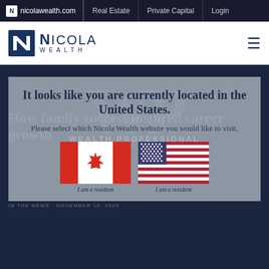nicolawealth.com   Real Estate   Private Capital   Login
[Figure (logo): Nicola Wealth logo with stylized N and text NICOLA WEALTH]
[Figure (screenshot): Modal overlay on Nicola Wealth website with Wealth Professional watermark. Headline: It looks like you are currently located in the United States. Subtext: Please select which Nicola Wealth website you would like to visit. Two flag options: Canada and United States.]
How family success inspired career growth
IN THE NEWS   November 10, 2020
I am a resident
I am a resident